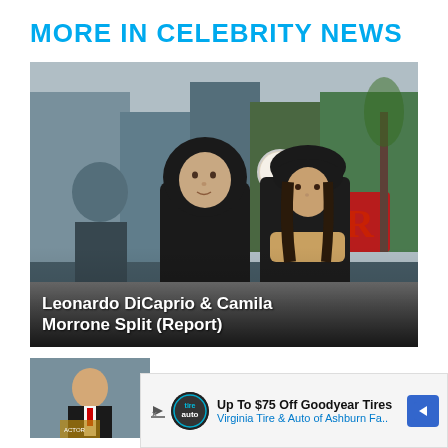MORE IN CELEBRITY NEWS
[Figure (photo): Leonardo DiCaprio and Camila Morrone walking on a city street in winter, both wearing black outerwear; DiCaprio in a black hoodie and puffer jacket, Morrone in a black hat and leather coat with a tan scarf.]
Leonardo DiCaprio & Camila Morrone Split (Report)
[Figure (photo): Partial thumbnail of a second celebrity news article, cropped at bottom of page.]
Up To $75 Off Goodyear Tires Virginia Tire & Auto of Ashburn Fa..